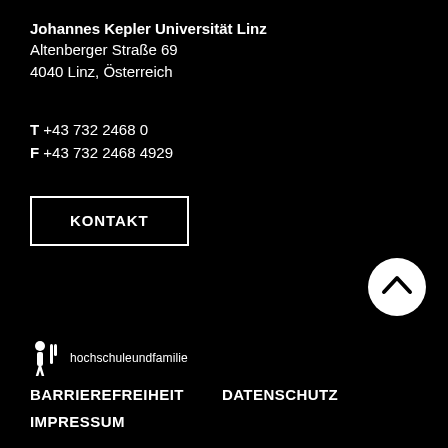Johannes Kepler Universität Linz
Altenberger Straße 69
4040 Linz, Österreich
T +43 732 2468 0
F +43 732 2468 4929
KONTAKT
[Figure (illustration): White circular scroll-to-top button with upward chevron arrow]
[Figure (logo): hochschuleundfamilie logo with stylized person icon and text 'hochschuleundfamilie']
BARRIEREFREIHEIT   DATENSCHUTZ
IMPRESSUM